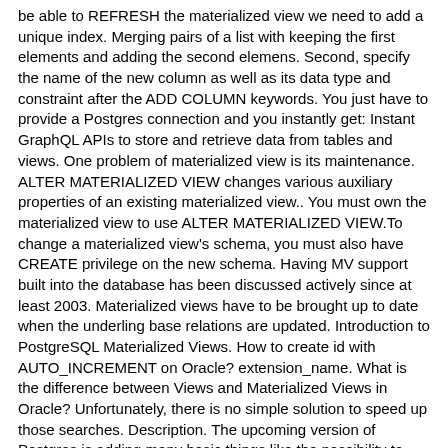be able to REFRESH the materialized view we need to add a unique index. Merging pairs of a list with keeping the first elements and adding the second elemens. Second, specify the name of the new column as well as its data type and constraint after the ADD COLUMN keywords. You just have to provide a Postgres connection and you instantly get: Instant GraphQL APIs to store and retrieve data from tables and views. One problem of materialized view is its maintenance. ALTER MATERIALIZED VIEW changes various auxiliary properties of an existing materialized view.. You must own the materialized view to use ALTER MATERIALIZED VIEW.To change a materialized view's schema, you must also have CREATE privilege on the new schema. Having MV support built into the database has been discussed actively since at least 2003. Materialized views have to be brought up to date when the underling base relations are updated. Introduction to PostgreSQL Materialized Views. How to create id with AUTO_INCREMENT on Oracle? extension_name. What is the difference between Views and Materialized Views in Oracle? Unfortunately, there is no simple solution to speed up those searches. Description. The upcoming version of Postgres is adding many basic things like the possibility to create, manage and refresh a materialized views. Adding built-in Materialized Views. I therefore created a couple of simple views that use recursion on system tables to determine the hierarchy of views and materialized views, which can then be used to refresh those materialized views in the correct order. Materialized views add on to this by speeding up the process of accessing slower running queries at the trade-off of having stale or not up-to-date data. CREATE MATERIALIZED VIEW defines a materialized view of a query. The view is actually a virtual